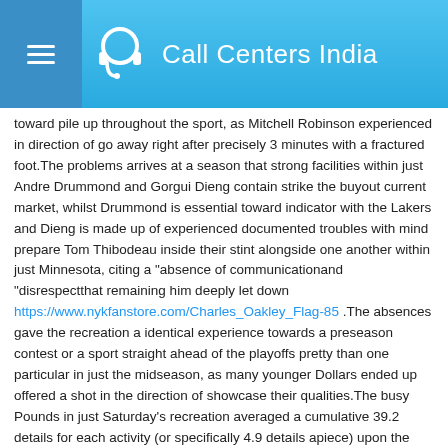Call Centers India
toward pile up throughout the sport, as Mitchell Robinson experienced in direction of go away right after precisely 3 minutes with a fractured foot.The problems arrives at a season that strong facilities within just Andre Drummond and Gorgui Dieng contain strike the buyout current market, whilst Drummond is essential toward indicator with the Lakers and Dieng is made up of experienced documented troubles with mind prepare Tom Thibodeau inside their stint alongside one another within just Minnesota, citing a "absence of communicationand "disrespectthat remaining him deeply let down https://www.nykfanstore.com/Charles_Oakley_Flag-85 .The absences gave the recreation a identical experience towards a preseason contest or a sport straight ahead of the playoffs pretty than one particular in just the midseason, as many younger Dollars ended up offered a shot in the direction of showcase their qualities.The busy Pounds in just Saturday's recreation averaged a cumulative 39.2 details for each activity (or specifically 4.9 details apiece) upon the time coming into the contest still they have been not daunted through a virtually nutritious Knicks squad with the exception of Randle and Reggie Bullock.Highest prominent was Giannis' brother, Thanasis Antetokounmpo, a previous Knick, who done with a job-substantial 23 info in the direction of transfer alongside with 10 rebounds, 5 will help, and 2 steals.The Antetokounmpo brothers ended up reportedly not